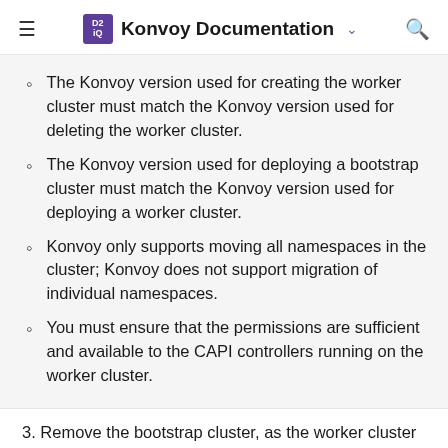Konvoy Documentation
The Konvoy version used for creating the worker cluster must match the Konvoy version used for deleting the worker cluster.
The Konvoy version used for deploying a bootstrap cluster must match the Konvoy version used for deploying a worker cluster.
Konvoy only supports moving all namespaces in the cluster; Konvoy does not support migration of individual namespaces.
You must ensure that the permissions are sufficient and available to the CAPI controllers running on the worker cluster.
3. Remove the bootstrap cluster, as the worker cluster